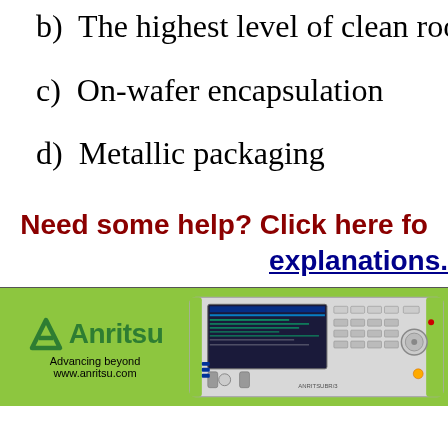b)  The highest level of clean room fo…
c)  On-wafer encapsulation
d)  Metallic packaging
Need some help? Click here fo… explanations.
[Figure (logo): Anritsu advertisement banner with logo, tagline 'Advancing beyond', www.anritsu.com, and a photo of a signal generator instrument]